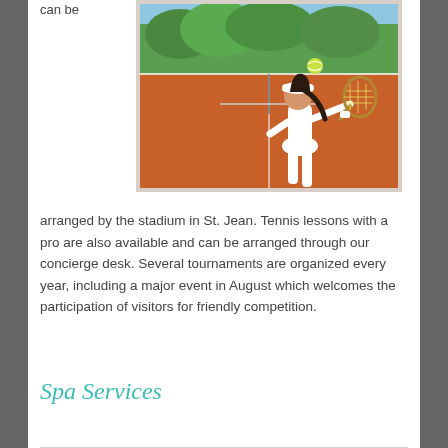can be
[Figure (photo): Woman playing tennis on a clay court, wearing white outfit and cap, hitting a ball with a racket. Green trees and field in background.]
arranged by the stadium in St. Jean. Tennis lessons with a pro are also available and can be arranged through our concierge desk. Several tournaments are organized every year, including a major event in August which welcomes the participation of visitors for friendly competition.
Spa Services